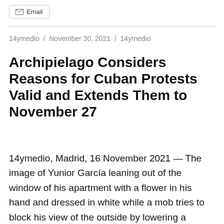Email
14ymedio / November 30, 2021 / 14ymedio
Archipielago Considers Reasons for Cuban Protests Valid and Extends Them to November 27
14ymedio, Madrid, 16 November 2021 — The image of Yunior García leaning out of the window of his apartment with a flower in his hand and dressed in white while a mob tries to block his view of the outside by lowering a